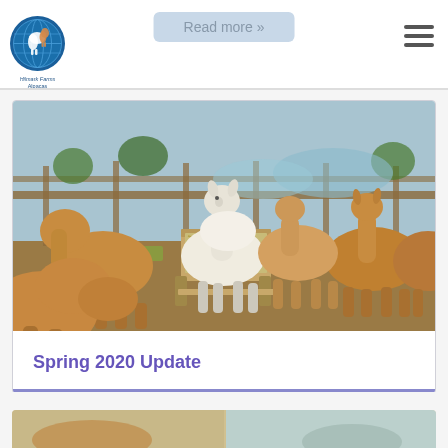Alpaca Farms – Read more »
[Figure (photo): Several alpacas of brown and white colors gathered around a wooden hay feeder in an outdoor farm paddock with fencing in the background.]
Spring 2020 Update
[Figure (photo): Partial view of a bottom card with alpaca imagery, cropped at page edge.]